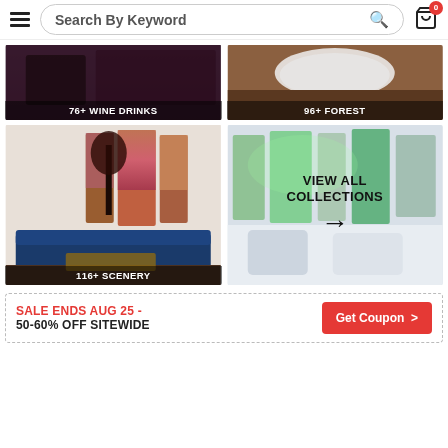Search By Keyword
[Figure (photo): Wine/drinks themed wall art in a dark living room interior, labeled '76+ WINE DRINKS']
[Figure (photo): Forest themed room with a round white rug on dark wood floor, labeled '96+ FOREST']
[Figure (photo): Scenery landscape multi-panel wall art in modern living room with blue sofa, labeled '116+ SCENERY']
[Figure (photo): Northern lights multi-panel art in a white living room — 'VIEW ALL COLLECTIONS' with arrow overlay]
SALE ENDS AUG 25 - 50-60% OFF SITEWIDE
Get Coupon >